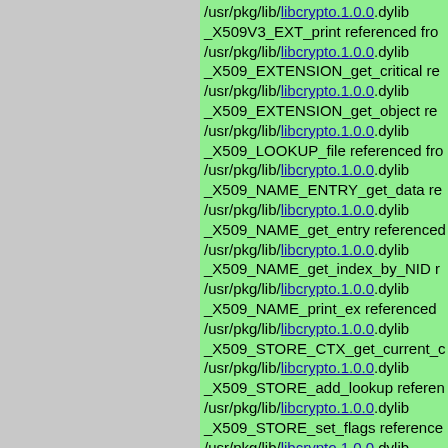/usr/pkg/lib/libcrypto.1.0.0.dylib _X509V3_EXT_print referenced from /usr/pkg/lib/libcrypto.1.0.0.dylib _X509_EXTENSION_get_critical re /usr/pkg/lib/libcrypto.1.0.0.dylib _X509_EXTENSION_get_object re /usr/pkg/lib/libcrypto.1.0.0.dylib _X509_LOOKUP_file referenced fro /usr/pkg/lib/libcrypto.1.0.0.dylib _X509_NAME_ENTRY_get_data re /usr/pkg/lib/libcrypto.1.0.0.dylib _X509_NAME_get_entry referenced /usr/pkg/lib/libcrypto.1.0.0.dylib _X509_NAME_get_index_by_NID r /usr/pkg/lib/libcrypto.1.0.0.dylib _X509_NAME_print_ex referenced /usr/pkg/lib/libcrypto.1.0.0.dylib _X509_STORE_CTX_get_current_c /usr/pkg/lib/libcrypto.1.0.0.dylib _X509_STORE_add_lookup referen /usr/pkg/lib/libcrypto.1.0.0.dylib _X509_STORE_set_flags reference /usr/pkg/lib/libcrypto.1.0.0.dylib _X509_check_issued referenced fro /usr/pkg/lib/libcrypto.1.0.0.dylib _X509_free referenced from libcurl /usr/pkg/lib/libcrypto.1.0.0.dylib _X509_get_ext_d2i referenced from /usr/pkg/lib/libcrypto.1.0.0.dylib _X509_get_issuer_name reference